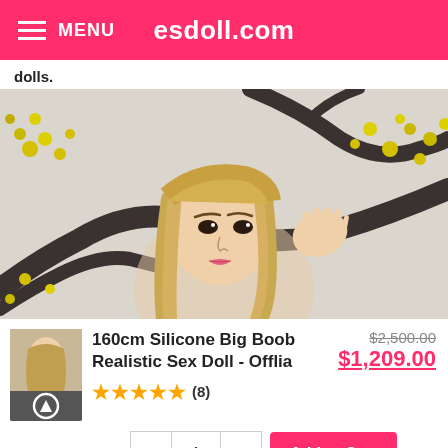MENU esdoll.com
dolls.
[Figure (photo): Product photo of a realistic doll with blonde hair against a background with dark branch and yellow flowers painted in East Asian style]
160cm Silicone Big Boob Realistic Sex Doll - Offlia
★★★★★ (8)
$2,500.00  $1,209.00
- 1 + Add to Cart